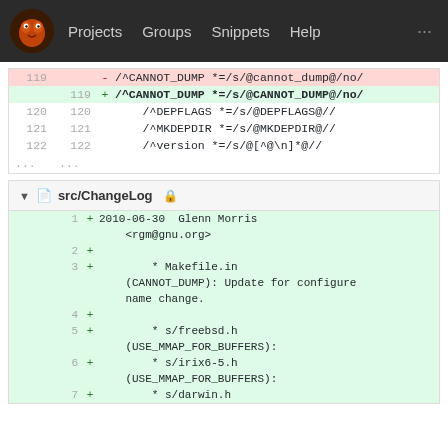Projects  Groups  Snippets  Help
[Figure (screenshot): Git diff showing Makefile.in changes: line 119 deletion of /^CANNOT_DUMP *=/s/@cannot_dump@/no/ and addition of /^CANNOT_DUMP *=/s/@CANNOT_DUMP@/no/, lines 120-122 unchanged context, ellipsis]
src/ChangeLog
[Figure (screenshot): Git diff of src/ChangeLog showing added lines 1-7: 2010-06-30 Glenn Morris <rgm@gnu.org>, blank line, * Makefile.in (CANNOT_DUMP): Update for configure name change., blank line, * s/freebsd.h (USE_MMAP_FOR_BUFFERS):, * s/irix6-5.h (USE_MMAP_FOR_BUFFERS):, * s/darwin.h]